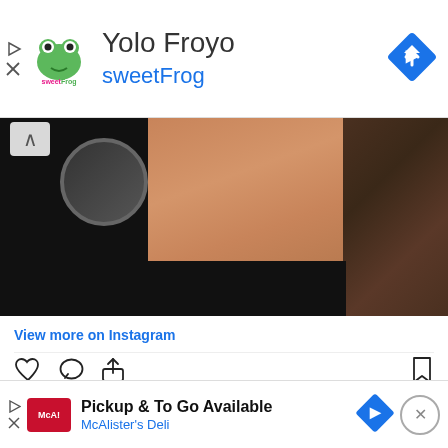[Figure (screenshot): Top advertisement banner for Yolo Froyo sweetFrog with logo and navigation arrow icon]
[Figure (photo): Instagram post image showing a person's torso/side, partially cropped, with dark background on sides]
View more on Instagram
549,883 likes
prideofgypsies
the cage is off i'm free to roam 6weeks since surgery WE WRAPPED ITALY. just want to send my absolute admiration for the Italians and this beautiful country. want to send apologize for any disrespect i love your culture and... ALU
[Figure (screenshot): Bottom advertisement banner for McAlister's Deli - Pickup & To Go Available]